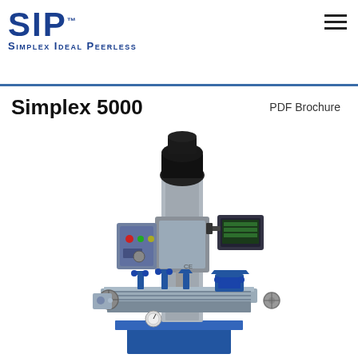SIP™ SIMPLEX IDEAL PEERLESS
Simplex 5000
PDF Brochure
[Figure (photo): Simplex 5000 milling machine with blue base and stand, milling head with motor on top, control panel on left side, digital readout display on right arm, T-slot worktable with blue clamps/stops, handwheels on sides, and gauge at front bottom]